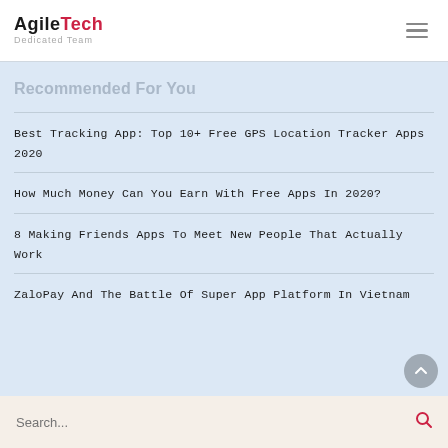AgileTech Dedicated Team
Recommended For You
Best Tracking App: Top 10+ Free GPS Location Tracker Apps 2020
How Much Money Can You Earn With Free Apps In 2020?
8 Making Friends Apps To Meet New People That Actually Work
ZaloPay And The Battle Of Super App Platform In Vietnam